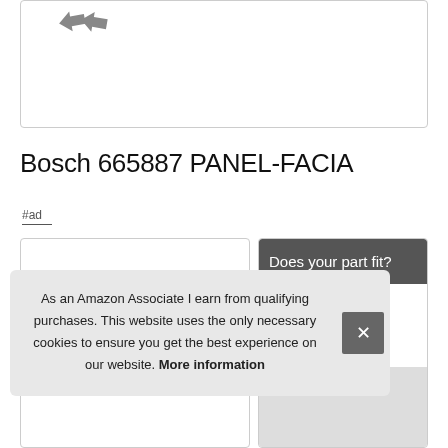[Figure (photo): Product image box with partial arrows/icons visible at top left corner, mostly white/empty space, bordered box]
Bosch 665887 PANEL-FACIA
#ad
Does your part fit?
As an Amazon Associate I earn from qualifying purchases. This website uses the only necessary cookies to ensure you get the best experience on our website. More information